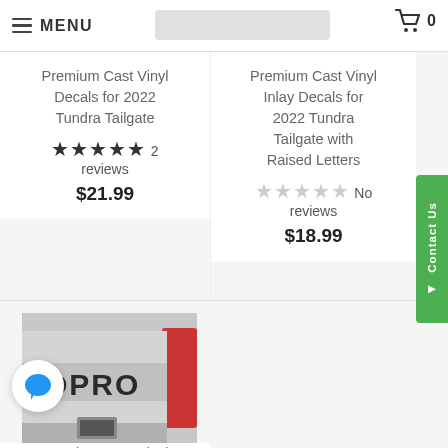MENU | Cart: 0
Premium Cast Vinyl Decals for 2022 Tundra Tailgate
★★★★★ 2 reviews
$21.99
Premium Cast Vinyl Inlay Decals for 2022 Tundra Tailgate with Raised Letters
☆☆☆☆☆ No reviews
$18.99
[Figure (photo): Photo of a truck tailgate showing raised letters reading 'RDPRO' (partially cropped) with red tail lights visible on the right side]
Premium Cast Vinyl Decals for 2022